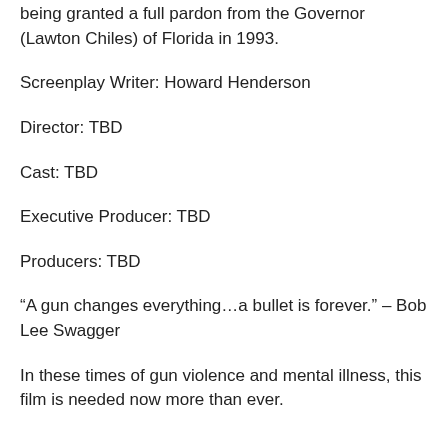being granted a full pardon from the Governor (Lawton Chiles) of Florida in 1993.
Screenplay Writer: Howard Henderson
Director: TBD
Cast: TBD
Executive Producer: TBD
Producers: TBD
“A gun changes everything…a bullet is forever.” – Bob Lee Swagger
In these times of gun violence and mental illness, this film is needed now more than ever.